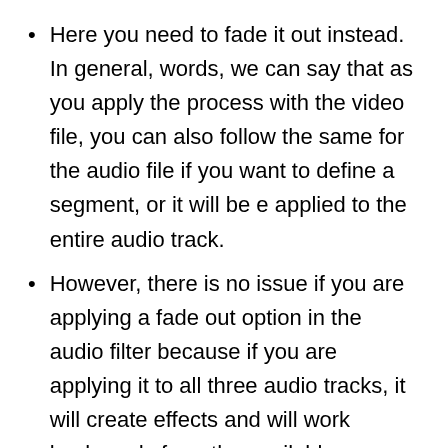Here you need to fade it out instead. In general, words, we can say that as you apply the process with the video file, you can also follow the same for the audio file if you want to define a segment, or it will be e applied to the entire audio track.
However, there is no issue if you are applying a fade out option in the audio filter because if you are applying it to all three audio tracks, it will create effects and will work backwards from the available Endpoint.
What you need to do is simply adjust the duration of fade as default, and with the video, you can make it fade out, and the